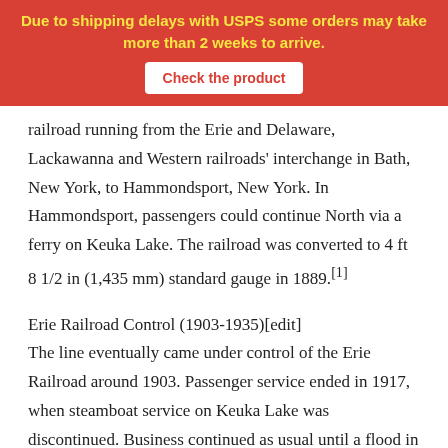Due to shipping delays with USPS some orders may take more than 2 weeks to arrive. Check the product
railroad running from the Erie and Delaware, Lackawanna and Western railroads' interchange in Bath, New York, to Hammondsport, New York. In Hammondsport, passengers could continue North via a ferry on Keuka Lake. The railroad was converted to 4 ft 8 1/2 in (1,435 mm) standard gauge in 1889.[1]
Erie Railroad Control (1903-1935)[edit]
The line eventually came under control of the Erie Railroad around 1903. Passenger service ended in 1917, when steamboat service on Keuka Lake was discontinued. Business continued as usual until a flood in 1935 damaged much of the railroad. Faced with having to rebuild miles of railroad, the management of the Erie Railroad instead began